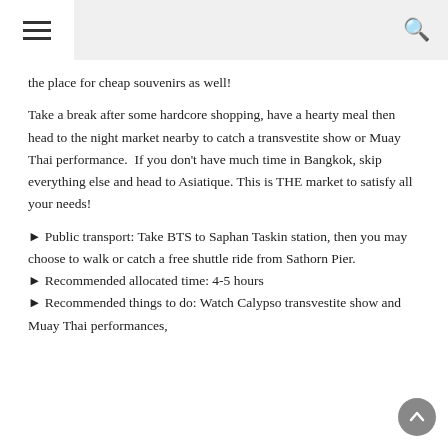☰  🔍
the place for cheap souvenirs as well!
Take a break after some hardcore shopping, have a hearty meal then head to the night market nearby to catch a transvestite show or Muay Thai performance.  If you don't have much time in Bangkok, skip everything else and head to Asiatique. This is THE market to satisfy all your needs!
▶ Public transport: Take BTS to Saphan Taskin station, then you may choose to walk or catch a free shuttle ride from Sathorn Pier.
▶ Recommended allocated time: 4-5 hours
▶ Recommended things to do: Watch Calypso transvestite show and Muay Thai performances,